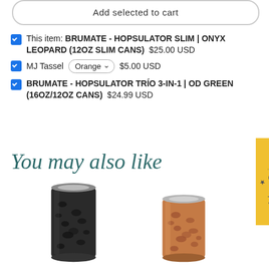Add selected to cart
This item: BRUMATE - HOPSULATOR SLIM | ONYX LEOPARD (12OZ SLIM CANS)  $25.00 USD
MJ Tassel  Orange  $5.00 USD
BRUMATE - HOPSULATOR TRÍO 3-IN-1 | OD GREEN (16OZ/12OZ CANS)  $24.99 USD
You may also like
[Figure (photo): Two insulated can holders shown side by side. Left: dark/black leopard print slim can cooler. Right: copper/rose gold hammered leopard print can cooler.]